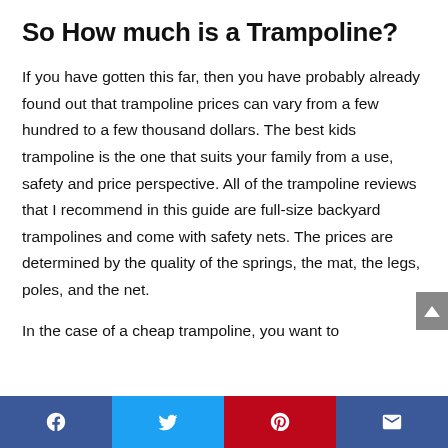So How much is a Trampoline?
If you have gotten this far, then you have probably already found out that trampoline prices can vary from a few hundred to a few thousand dollars. The best kids trampoline is the one that suits your family from a use, safety and price perspective. All of the trampoline reviews that I recommend in this guide are full-size backyard trampolines and come with safety nets. The prices are determined by the quality of the springs, the mat, the legs, poles, and the net.
In the case of a cheap trampoline, you want to
Facebook | Twitter | Pinterest | Email